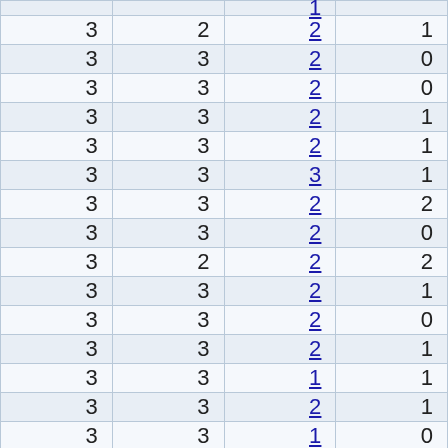| 3 | 2 | 2 | 1 |
| 3 | 3 | 2 | 0 |
| 3 | 3 | 2 | 0 |
| 3 | 3 | 2 | 1 |
| 3 | 3 | 2 | 1 |
| 3 | 3 | 3 | 1 |
| 3 | 3 | 2 | 2 |
| 3 | 3 | 2 | 0 |
| 3 | 2 | 2 | 2 |
| 3 | 3 | 2 | 1 |
| 3 | 3 | 2 | 0 |
| 3 | 3 | 2 | 1 |
| 3 | 3 | 1 | 1 |
| 3 | 3 | 2 | 1 |
| 3 | 3 | 1 | 0 |